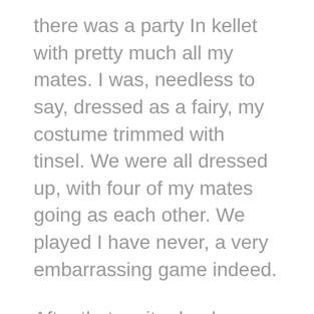there was a party In kellet with pretty much all my mates. I was, needless to say, dressed as a fairy, my costume trimmed with tinsel. We were all dressed up, with four of my mates going as each other. We played I have never, a very embarrassing game indeed.
After that, quite drunk though we all were (Steve actually carrying me down the stairs, to my great surprise) we all progressed to the bar. It was freezing! Nevertheless, upon getting to the bar, I handed Steve the cd and asked him to ask the dj to play the track.